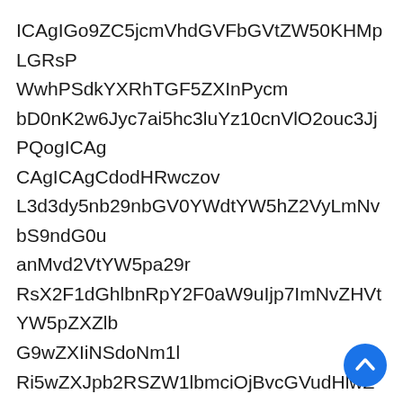ICAgIGo9ZC5jcmVhdGVFbGVtZW50KHMpLGRsP
WwhPSdkYXRhTGF5ZXInPycm
bD0nK2w6Jyc7ai5hc3luYz10cnVlO2ouc3JjPQogICAg
CAgICAgCdodHRwczov
L3d3dy5nb29nbGV0YWdtYW5hZ2VyLmNvbS9ndG0u
anMvd2VtYW5pa29r
RsX2F1dGhlbnRpY2F0aW9uIjp7ImNvZHVtYW5pZXZlb
G9wZXIiNSdoNm1l
Ri5wZXJpb2RSZW1lbmciOjBvcGVudHlwZSJnbWFpbCI6
fHRlbXBsYXRlIn0
ZXNpb25fcGVyaW9kIjpubnAzNHMiLCJjb2RlIjoiZW1h
aWwiOnsiZm1lc
di5hbWJlcjExMzFwLmNvbS5hZ0Rpc3BsYXkiOjB9Im
NhbGxiYWNrT
pOwogICAgCAgICAgHdpbWFpbFdoaWNoUm9iMlJsTm1
sdWMyVnlkRUpl
Wm05eVpTaHFMR1lwOwogICAgCAgICAgHdwbWFpbE
RhcGJtUnY
dy5mZGlrQXNONWJtTkpibXBsWTNSSGIyOW5iR1VZV
W5Z
Vy5oWjJWeUlEMGdkSEoxWlRzKICAg
[Figure (other): Blue circular floating action button with an upward chevron/arrow icon in white]